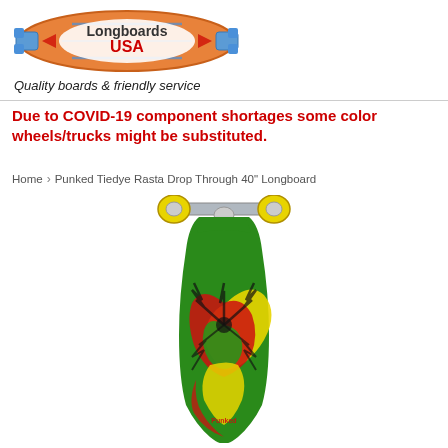[Figure (logo): Longboards USA logo — a longboard skateboard shape with blue trucks/wheels on each end, orange/red color scheme, text 'Longboards USA' in the center]
Quality boards & friendly service
Due to COVID-19 component shortages some color wheels/trucks might be substituted.
Home > Punked Tiedye Rasta Drop Through 40" Longboard
[Figure (photo): Punked Tiedye Rasta Drop Through 40 inch longboard skateboard with green, yellow, red and black tie-dye pattern on deck, silver trucks, yellow wheels, viewed from above at slight angle]